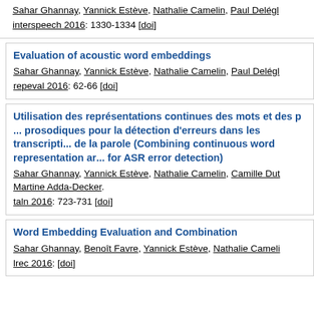Sahar Ghannay, Yannick Estève, Nathalie Camelin, Paul Delégl...
interspeech 2016: 1330-1334 [doi]
Evaluation of acoustic word embeddings
Sahar Ghannay, Yannick Estève, Nathalie Camelin, Paul Delégl...
repeval 2016: 62-66 [doi]
Utilisation des représentations continues des mots et des p... prosodiques pour la détection d'erreurs dans les transcripti... de la parole (Combining continuous word representation ar... for ASR error detection)
Sahar Ghannay, Yannick Estève, Nathalie Camelin, Camille Dut... Martine Adda-Decker.
taln 2016: 723-731 [doi]
Word Embedding Evaluation and Combination
Sahar Ghannay, Benoît Favre, Yannick Estève, Nathalie Cameli...
lrec 2016: [doi]